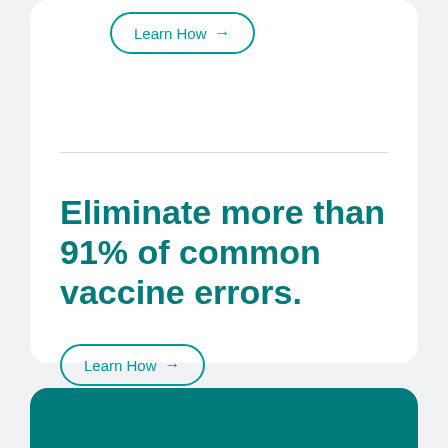[Figure (other): Top portion of a white card with a 'Learn How →' button at the top, partially visible]
Eliminate more than 91% of common vaccine errors.
Learn How →